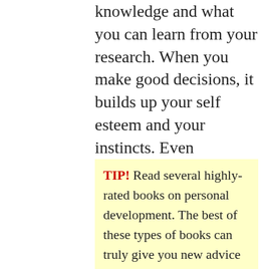knowledge and what you can learn from your research. When you make good decisions, it builds up your self esteem and your instincts. Even mistaken decisions are valuable because they provide instructive learning experiences. Making a bad decision helps you make a better decision next time.
TIP! Read several highly-rated books on personal development. The best of these types of books can truly give you new advice and ideas that work for improving your specific life situations and challenges.